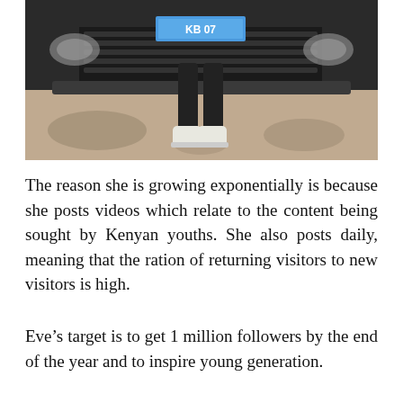[Figure (photo): A person sitting on the front bumper of a black car on a gravel surface, wearing dark jeans and white boots. A license plate is partially visible reading 'KB...7'.]
The reason she is growing exponentially is because she posts videos which relate to the content being sought by Kenyan youths. She also posts daily, meaning that the ration of returning visitors to new visitors is high.
Eve’s target is to get 1 million followers by the end of the year and to inspire young generation.